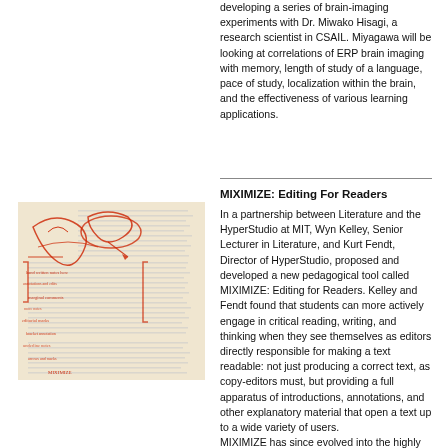developing a series of brain-imaging experiments with Dr. Miwako Hisagi, a research scientist in CSAIL. Miyagawa will be looking at correlations of ERP brain imaging with memory, length of study of a language, pace of study, localization within the brain, and the effectiveness of various learning applications.
MIXIMIZE: Editing For Readers
[Figure (photo): A manuscript page covered with red handwritten annotations, edits, and markings over printed text.]
In a partnership between Literature and the HyperStudio at MIT, Wyn Kelley, Senior Lecturer in Literature, and Kurt Fendt, Director of HyperStudio, proposed and developed a new pedagogical tool called MIXIMIZE: Editing for Readers. Kelley and Fendt found that students can more actively engage in critical reading, writing, and thinking when they see themselves as editors directly responsible for making a text readable: not just producing a correct text, as copy-editors must, but providing a full apparatus of introductions, annotations, and other explanatory material that open a text up to a wide variety of users. MIXIMIZE has since evolved into the highly successful MIT SHASS-developed Annotation...